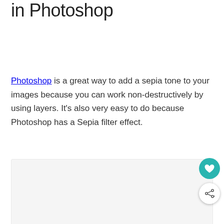in Photoshop
Photoshop is a great way to add a sepia tone to your images because you can work non-destructively by using layers. It's also very easy to do because Photoshop has a Sepia filter effect.
[Figure (other): Light gray rectangular image placeholder area]